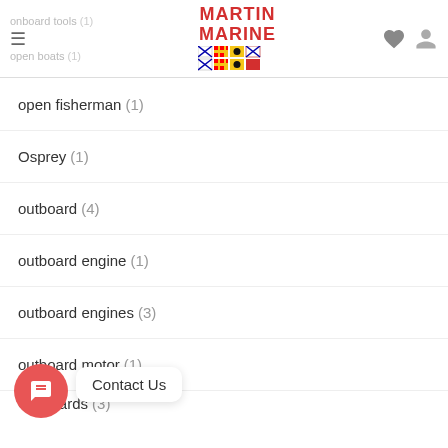Martin Marine
open fisherman (1)
Osprey (1)
outboard (4)
outboard engine (1)
outboard engines (3)
outboard motor (1)
Outboards (3)
outbopards (1)
outer limits (1)